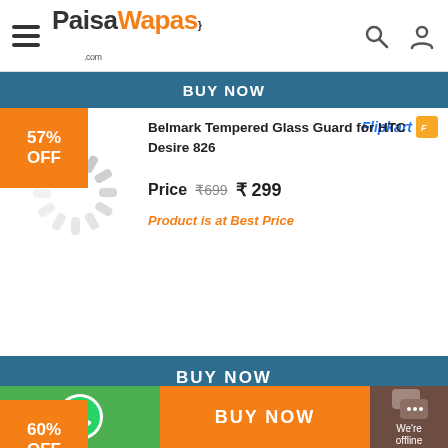PaisaWapas.com
BUY NOW
57% OFF
[Figure (logo): Flipkart logo with orange icon]
Belmark Tempered Glass Guard for HTC Desire 826
Price ₹699 ₹299
Product is at Best Price
BUY NOW
60% OFF
[Figure (logo): Flipkart logo with orange icon]
GooDiT GTTGSGT59 Tempered Glass for HTC Desire 826
BUY NOW